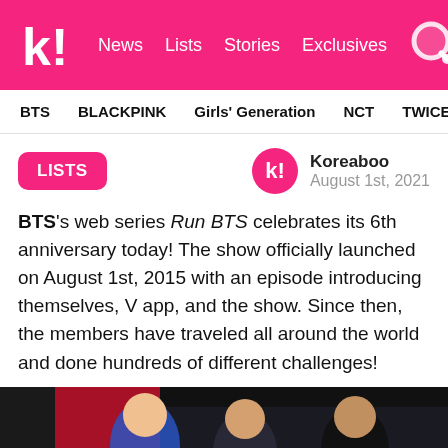k! News Lists Stories Exclusives
BTS BLACKPINK Girls' Generation NCT TWICE aespa
LISTS
Koreaboo August 1st, 2021
BTS's web series Run BTS celebrates its 6th anniversary today! The show officially launched on August 1st, 2015 with an episode introducing themselves, V app, and the show. Since then, the members have traveled all around the world and done hundreds of different challenges!
[Figure (photo): Three people seated in a dark studio room, one wearing a blue sweater, one in a patterned top, one in a black top, with a red gaming/studio backdrop behind them.]